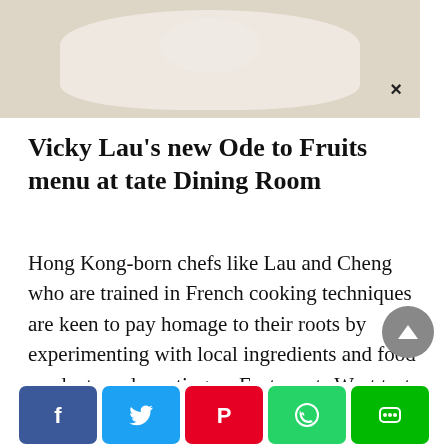[Figure (photo): Partial view of a food photo showing a white plate with food, on a beige/tan background, with an X close button on the right side — appears to be an advertisement banner.]
Vicky Lau's new Ode to Fruits menu at tate Dining Room
Hong Kong-born chefs like Lau and Cheng who are trained in French cooking techniques are keen to pay homage to their roots by experimenting with local ingredients and food products and creating an East meets West taste with their dishes. This can be as simple as the humble egg waffle with scoops of
[Figure (infographic): Social media sharing bar with five buttons: Facebook (blue), Twitter (light blue), Pinterest (red), WhatsApp (green), LINE (green).]